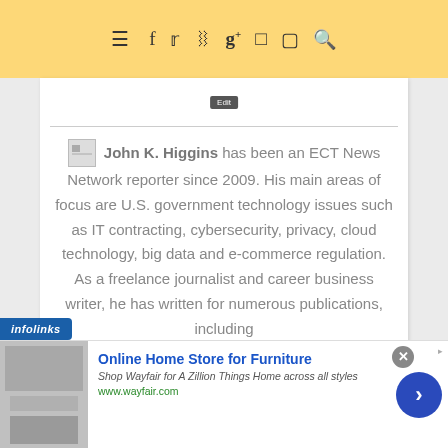≡ f t pinterest g+ instagram youtube search
[Figure (screenshot): Small edit button/label at top of article card]
John K. Higgins has been an ECT News Network reporter since 2009. His main areas of focus are U.S. government technology issues such as IT contracting, cybersecurity, privacy, cloud technology, big data and e-commerce regulation. As a freelance journalist and career business writer, he has written for numerous publications, including
[Figure (infographic): Infolinks ad badge and Wayfair advertisement banner: Online Home Store for Furniture — Shop Wayfair for A Zillion Things Home across all styles — www.wayfair.com]